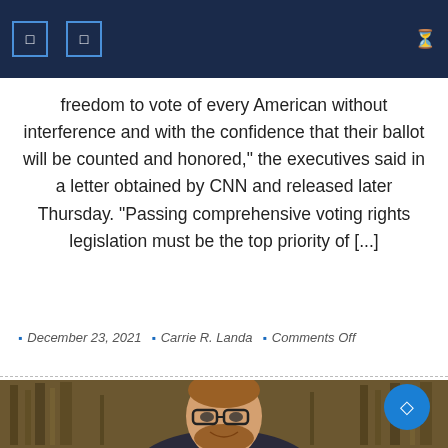navigation header with icons
freedom to vote of every American without interference and with the confidence that their ballot will be counted and honored," the executives said in a letter obtained by CNN and released later Thursday. "Passing comprehensive voting rights legislation must be the top priority of [...]
December 23, 2021  Carrie R. Landa  Comments Off
[Figure (photo): Smiling man with glasses and a beard wearing a dark blazer, seated in front of a large dark painting depicting architectural/building scenes]